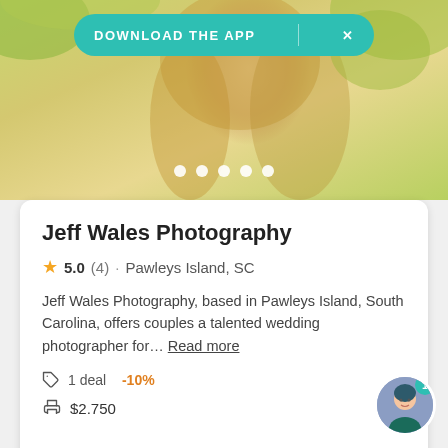[Figure (photo): Hero banner photo of a blonde woman with blurred outdoor background, with a teal 'DOWNLOAD THE APP' pill button overlay at the top, and five white carousel dots near the bottom of the image]
Jeff Wales Photography
5.0 (4) · Pawleys Island, SC
Jeff Wales Photography, based in Pawleys Island, South Carolina, offers couples a talented wedding photographer for… Read more
1 deal  -10%
$2,750
Request pricing